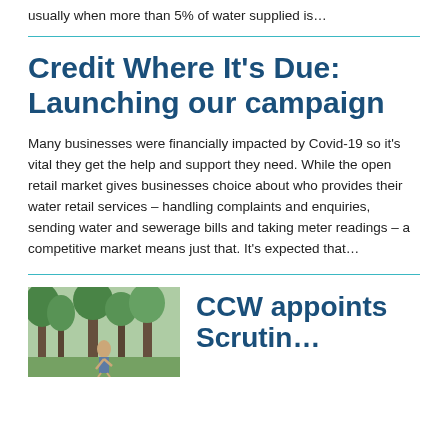usually when more than 5% of water supplied is…
Credit Where It's Due: Launching our campaign
Many businesses were financially impacted by Covid-19 so it's vital they get the help and support they need. While the open retail market gives businesses choice about who provides their water retail services – handling complaints and enquiries, sending water and sewerage bills and taking meter readings – a competitive market means just that. It's expected that…
[Figure (photo): Outdoor photo showing trees and a person in a natural setting]
CCW appoints Scrutin…